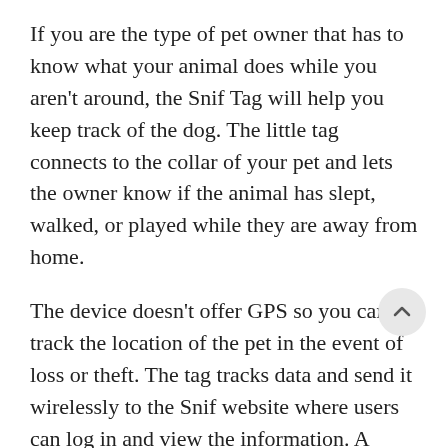If you are the type of pet owner that has to know what your animal does while you aren't around, the Snif Tag will help you keep track of the dog. The little tag connects to the collar of your pet and lets the owner know if the animal has slept, walked, or played while they are away from home.
The device doesn't offer GPS so you can't track the location of the pet in the event of loss or theft. The tag tracks data and send it wirelessly to the Snif website where users can log in and view the information. A social network is also part of the Snif Tag features allowing pet owners to meet and talk about what their pet does while they are away I guess. The tag costs $299 and includes a one-year subscription to the activity monitoring service